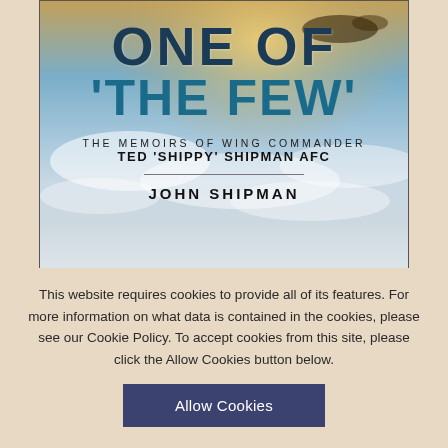[Figure (illustration): Book cover for 'One of The Few' – The Memoirs of Wing Commander Ted 'Shippy' Shipman AFC by John Shipman. Cover shows a WWII aircraft against a sky background with clouds.]
This website requires cookies to provide all of its features. For more information on what data is contained in the cookies, please see our Cookie Policy. To accept cookies from this site, please click the Allow Cookies button below.